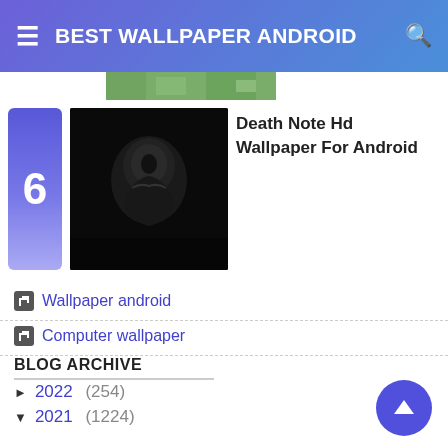BEST WALLPAPER ANDROID
[Figure (screenshot): Partial cropped image visible at top below header (landscape greenery thumbnail)]
6  Death Note Hd Wallpaper For Android
Wallpaper android
Computer wallpaper
BLOG ARCHIVE
► 2022 (254)
▼ 2021 (1224)
► Desember (114)
► November (91)
▼ Oktober (105)
Sailor Moon Luna Wallpaper